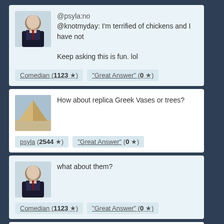@psyla:no
@knotmyday: I'm terrified of chickens and I have not

Keep asking this is fun. lol
Comedian (1123 ★)   "Great Answer" (0 ★)
How about replica Greek Vases or trees?
psyla (2544 ★)   "Great Answer" (0 ★)
what about them?
Comedian (1123 ★)   "Great Answer" (0 ★)
I hate reality shows in general. A friend wanted to watch “Girls Next Door”, and I saw some of it with her. It seemed quite stupid to me. I do not like “Playboy”, because it prints much Lunatic Left “gou will. They pay but spirits it came the t...